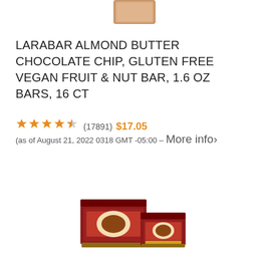[Figure (photo): Partial top view of a Larabar product package, cropped at the top of the page]
LARABAR ALMOND BUTTER CHOCOLATE CHIP, GLUTEN FREE VEGAN FRUIT & NUT BAR, 1.6 OZ BARS, 16 CT
★★★★½ (17891)  $17.05  (as of August 21, 2022 0318 GMT -05:00 – More info›)
[Figure (photo): Product image of Betty Crocker fruit snacks box set, showing a 6-pack bundle and a single box]